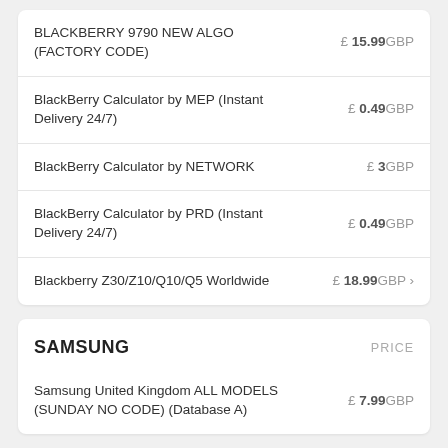| Product | Price |
| --- | --- |
| BLACKBERRY 9790 NEW ALGO (FACTORY CODE) | £ 15.99GBP |
| BlackBerry Calculator by MEP (Instant Delivery 24/7) | £ 0.49GBP |
| BlackBerry Calculator by NETWORK | £ 3GBP |
| BlackBerry Calculator by PRD (Instant Delivery 24/7) | £ 0.49GBP |
| Blackberry Z30/Z10/Q10/Q5 Worldwide | £ 18.99GBP |
SAMSUNG   PRICE
| Product | Price |
| --- | --- |
| Samsung United Kingdom ALL MODELS (SUNDAY NO CODE) (Database A) | £ 7.99GBP |